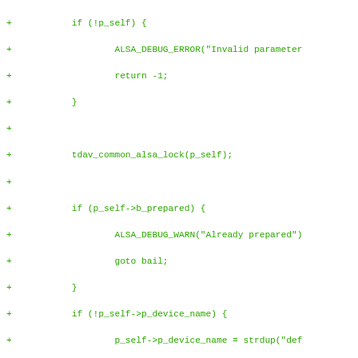[Figure (screenshot): Code diff snippet showing added lines (marked with +) of C source code for ALSA audio device initialization, including parameter validation, locking, device preparation, PCM open, hardware parameter allocation and initialization calls.]